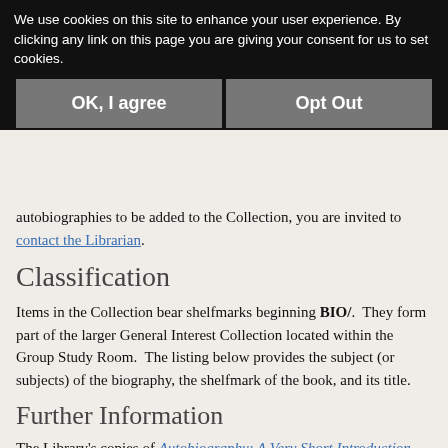We use cookies on this site to enhance your user experience. By clicking any link on this page you are giving your consent for us to set cookies.
OK, I agree
Opt Out
autobiographies to be added to the Collection, you are invited to contact the Librarian.
Classification
Items in the Collection bear shelfmarks beginning BIO/.  They form part of the larger General Interest Collection located within the Group Study Room.  The listing below provides the subject (or subjects) of the biography, the shelfmark of the book, and its title.
Further Information
The Library's copies of Autobiography: A Very Short Introduction (also online) and Biography: A Very Short Introduction (likewise online) provide very useful and engaging guides to what